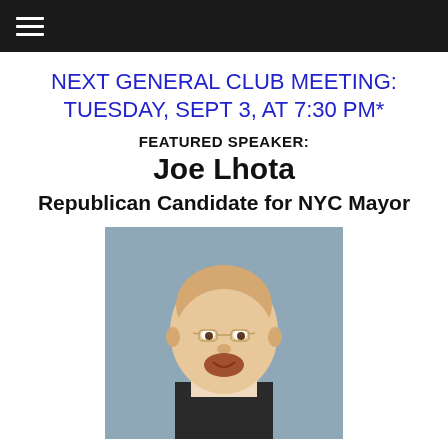☰
NEXT GENERAL CLUB MEETING: TUESDAY, SEPT 3, AT 7:30 PM*
FEATURED SPEAKER:
Joe Lhota
Republican Candidate for NYC Mayor
[Figure (photo): Headshot portrait of Joe Lhota, a bald man with glasses and a goatee wearing a suit, photographed against a blue-grey background]